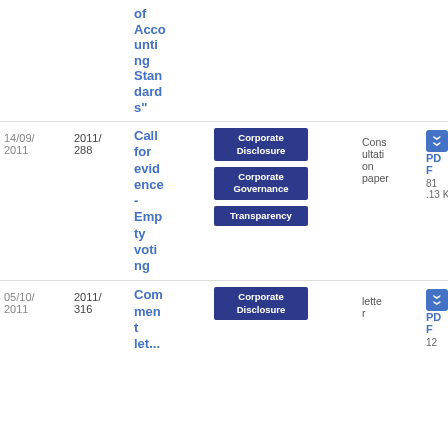| Date | Ref | Title | Tags | Type | File |
| --- | --- | --- | --- | --- | --- |
|  |  | of Accounting Standards" |  |  |  |
| 14/09/2011 | 2011/288 | Call for evidence - Empty voting | Corporate Disclosure, Corporate Governance, Transparency | Consultation paper | PDF 81.13 KB |
| 05/10/2011 | 2011/316 | Comment... | Corporate Disclosure | lette r | PDF 12 |